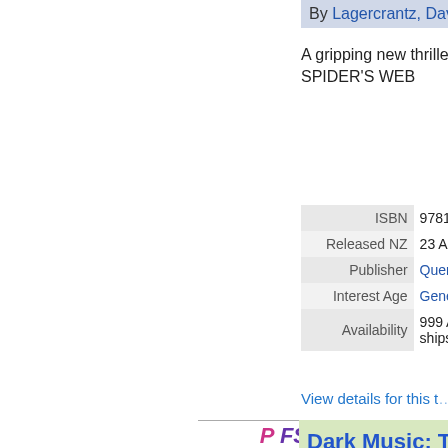By Lagercrantz, David:
A gripping new thriller fro... SPIDER'S WEB
|  |  |
| --- | --- |
| ISBN | 97815... |
| Released NZ | 23 Aug... |
| Publisher | Quercu... |
| Interest Age | Genera... |
| Availability | 999 Av... ships o... |
View details for this t...
[Figure (other): Book cover placeholder with P FS label]
Dark Music: The... the author of THE... WEB (Hardback)
By Lagercrantz, David:
A gripping new thriller fro... SPIDER'S WEB
|  |  |
| --- | --- |
| ISBN | 97815... |